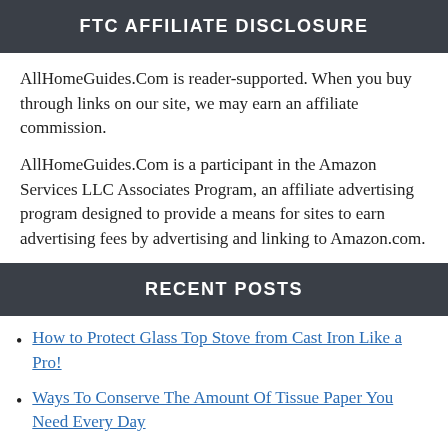FTC AFFILIATE DISCLOSURE
AllHomeGuides.Com is reader-supported. When you buy through links on our site, we may earn an affiliate commission.
AllHomeGuides.Com is a participant in the Amazon Services LLC Associates Program, an affiliate advertising program designed to provide a means for sites to earn advertising fees by advertising and linking to Amazon.com.
RECENT POSTS
How to Protect Glass Top Stove from Cast Iron Like a Pro!
Ways To Conserve The Amount Of Tissue Paper You Need Every Day